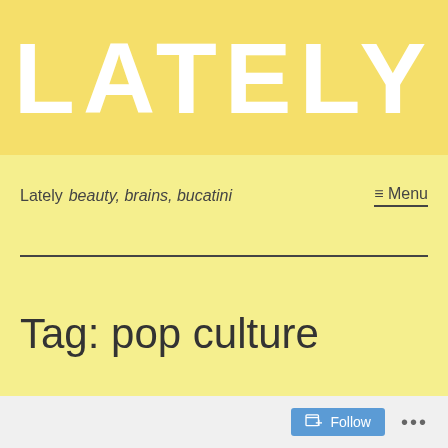LATELY
Lately  beauty, brains, bucatini  ≡ Menu
Tag: pop culture
Follow ...